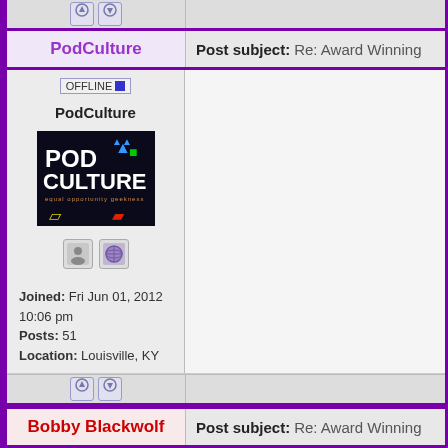PodCulture
Post subject: Re: Award Winning
[Figure (screenshot): Forum user profile area showing OFFLINE badge, username PodCulture, avatar image with 'POD CULTURE' logo, profile icon and globe icon, joined date Fri Jun 01 2012 10:06 pm, Posts: 51, Location: Louisville KY]
Bobby Blackwolf
Post subject: Re: Award Winning
OFFLINE
The Bobby